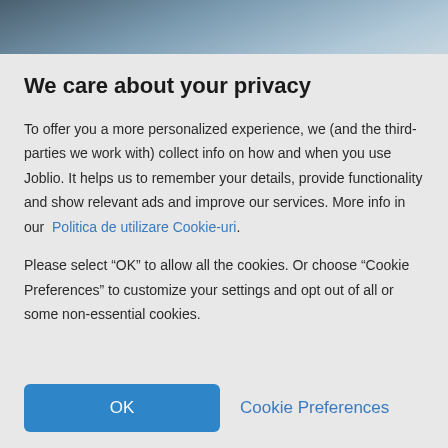[Figure (photo): Top portion of a photo showing a person, partially cropped, with blurred background. Only the upper portion is visible as a strip at the top of the page.]
We care about your privacy
To offer you a more personalized experience, we (and the third-parties we work with) collect info on how and when you use Joblio. It helps us to remember your details, provide functionality and show relevant ads and improve our services. More info in our Politica de utilizare Cookie-uri.
Please select “OK” to allow all the cookies. Or choose “Cookie Preferences” to customize your settings and opt out of all or some non-essential cookies.
OK
Cookie Preferences